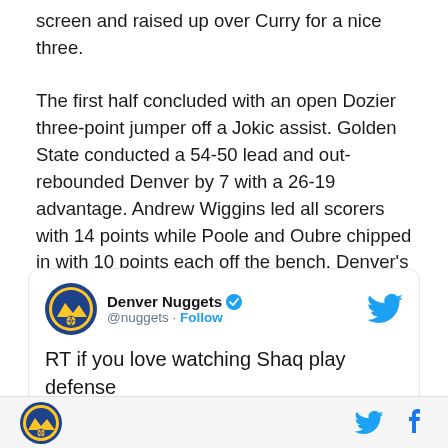screen and raised up over Curry for a nice three.

The first half concluded with an open Dozier three-point jumper off a Jokic assist. Golden State conducted a 54-50 lead and out-rebounded Denver by 7 with a 26-19 advantage. Andrew Wiggins led all scorers with 14 points while Poole and Oubre chipped in with 10 points each off the bench. Denver's leading scorer was Gordon with 10 and not far behind MPJ with 9.
[Figure (screenshot): Embedded tweet from @nuggets (Denver Nuggets) with Twitter bird icon, verified badge, Follow link, and tweet text: RT if you love watching Shaq play defense]
Denver Nuggets logo, Twitter bird icon, Facebook f icon